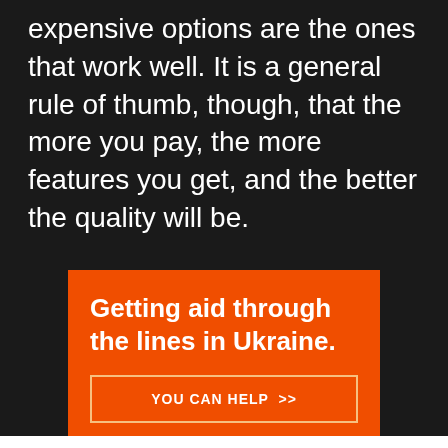expensive options are the ones that work well. It is a general rule of thumb, though, that the more you pay, the more features you get, and the better the quality will be.
[Figure (infographic): Orange advertisement banner for Direct Relief Ukraine aid campaign. Large bold white text reads 'Getting aid through the lines in Ukraine.' with an outlined button 'YOU CAN HELP >>' and a bottom bar with 'Help send medical aid to Ukraine >>' and Direct Relief logo.]